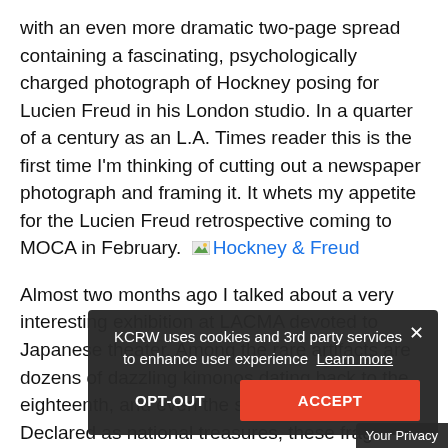with an even more dramatic two-page spread containing a fascinating, psychologically charged photograph of Hockney posing for Lucien Freud in his London studio. In a quarter of a century as an L.A. Times reader this is the first time I'm thinking of cutting out a newspaper photograph and framing it. It whets my appetite for the Lucien Freud retrospective coming to MOCA in February. [Hockney & Freud link]
Almost two months ago I talked about a very interesting exhibition at LACMA devoted to Japanese theater. Among the rare artifacts are dozens of dazzling kimonos dating back to the eighteenth, and even the seventeenth century. Declared as national treasures, these fragile garments can only be exposed to light for no longer than a month at a time, according to stringent Japanese conservation standards. So in the middle of this two-month exhibition all the kimonos had to be...
KCRW uses cookies and 3rd party services to enhance user experience Learn more
OPT-OUT
ACCEPT
Your Privacy